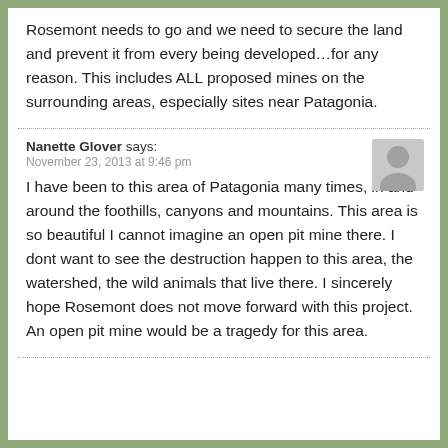Rosemont needs to go and we need to secure the land and prevent it from every being developed…for any reason. This includes ALL proposed mines on the surrounding areas, especially sites near Patagonia.
Nanette Glover says:
November 23, 2013 at 9:46 pm
I have been to this area of Patagonia many times, in and around the foothills, canyons and mountains. This area is so beautiful I cannot imagine an open pit mine there. I dont want to see the destruction happen to this area, the watershed, the wild animals that live there. I sincerely hope Rosemont does not move forward with this project. An open pit mine would be a tragedy for this area.